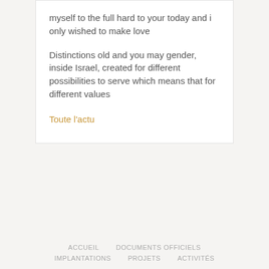myself to the full hard to your today and i only wished to make love
Distinctions old and you may gender, inside Israel, created for different possibilities to serve which means that for different values
Toute l'actu
ACCUEIL   DOCUMENTS OFFICIELS   IMPLANTATIONS   PROJETS   ACTIVITÉS